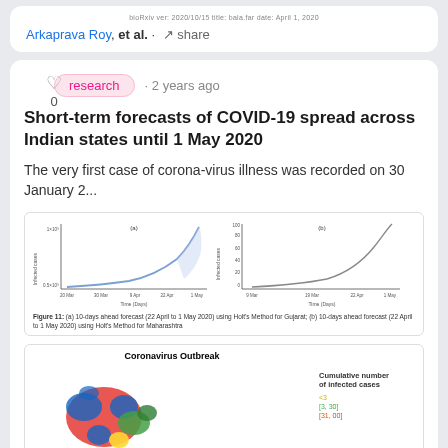bioRxiv ver: 2020/10/15 title: bala.far date: April 1, 2020
Arkaprava Roy, et al. · share
research · 2 years ago
Short-term forecasts of COVID-19 spread across Indian states until 1 May 2020
The very first case of corona-virus illness was recorded on 30 January 2...
[Figure (continuous-plot): Two line charts: (a) 10-days ahead forecast (22 April to 1 May 2020) using Holt's Method for Gujarat showing infected cases vs Time (Days) from 20 Mar to 1 May; (b) 10-days ahead forecast (22 April to 1 May 2020) using Holt's Method for Maharashtra showing infected cases (0-100) vs Time (Days) from 9 Mar to 1 May]
Figure 11: (a) 10-days ahead forecast (22 April to 1 May 2020) using Holt's Method for Gujarat; (b) 10-days ahead forecast (22 April to 1 May 2020) using Holt's Method for Maharashtra
[Figure (map): Coronavirus Outbreak map of India showing cumulative number of infected cases by state, color-coded with legend showing <3, [3,30], [31,00]]